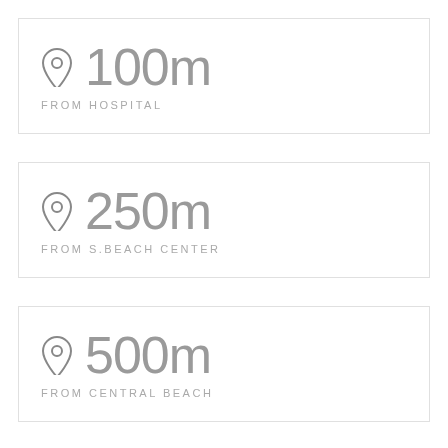100m FROM HOSPITAL
250m FROM S.BEACH CENTER
500m FROM CENTRAL BEACH